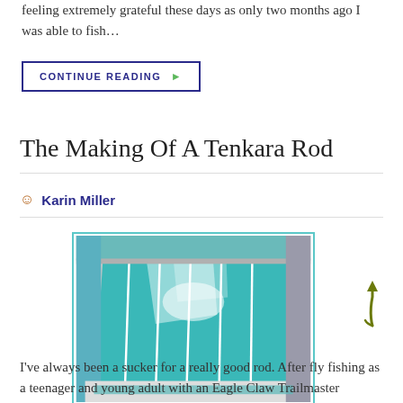feeling extremely grateful these days as only two months ago I was able to fish…
CONTINUE READING ▶
The Making Of A Tenkara Rod
Karin Miller
[Figure (photo): Indoor swimming pool or tank with teal/turquoise lane dividers, viewed from above at an angle. Bright reflections on the water surface. White lane markings visible.]
I've always been a sucker for a really good rod. After fly fishing as a teenager and young adult with an Eagle Claw Trailmaster (which, by the